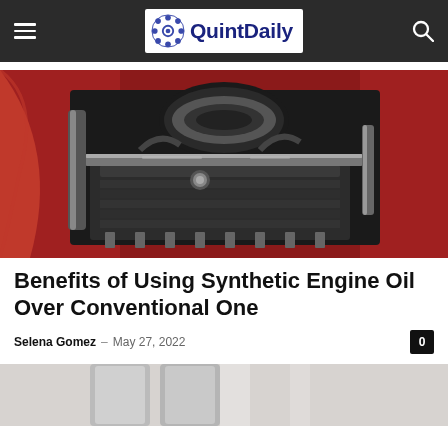QuintDaily
[Figure (photo): Close-up photo of a polished chrome car engine with red car body visible]
Benefits of Using Synthetic Engine Oil Over Conventional One
Selena Gomez – May 27, 2022
[Figure (photo): Partial view of a second image at the bottom of the page, appears to show oil containers]